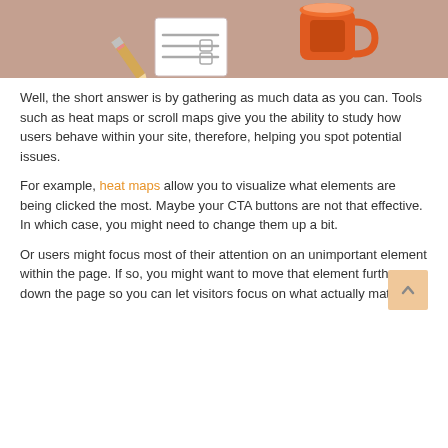[Figure (illustration): Illustration of a desk scene with a pencil, paper/checklist, and an orange coffee mug on a brownish-pink background]
Well, the short answer is by gathering as much data as you can. Tools such as heat maps or scroll maps give you the ability to study how users behave within your site, therefore, helping you spot potential issues.
For example, heat maps allow you to visualize what elements are being clicked the most. Maybe your CTA buttons are not that effective. In which case, you might need to change them up a bit.
Or users might focus most of their attention on an unimportant element within the page. If so, you might want to move that element further down the page so you can let visitors focus on what actually matters.